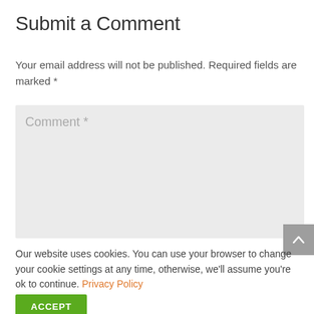Submit a Comment
Your email address will not be published. Required fields are marked *
Comment *
Our website uses cookies. You can use your browser to change your cookie settings at any time, otherwise, we'll assume you're ok to continue. Privacy Policy
ACCEPT